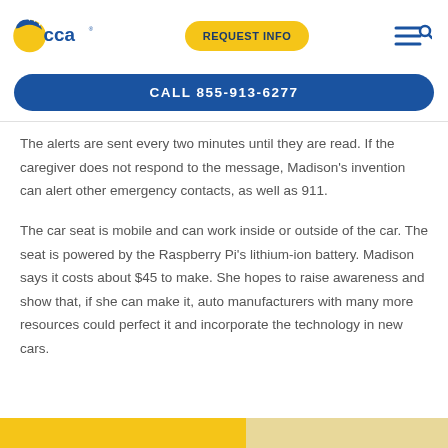[Figure (logo): CCA (Commonwealth Charter Academy) logo — blue and yellow sun/circle icon with 'cca' text in blue]
[Figure (other): Yellow pill-shaped 'REQUEST INFO' button and blue hamburger/search nav icon]
CALL 855-913-6277
The alerts are sent every two minutes until they are read. If the caregiver does not respond to the message, Madison's invention can alert other emergency contacts, as well as 911.
The car seat is mobile and can work inside or outside of the car. The seat is powered by the Raspberry Pi's lithium-ion battery. Madison says it costs about $45 to make. She hopes to raise awareness and show that, if she can make it, auto manufacturers with many more resources could perfect it and incorporate the technology in new cars.